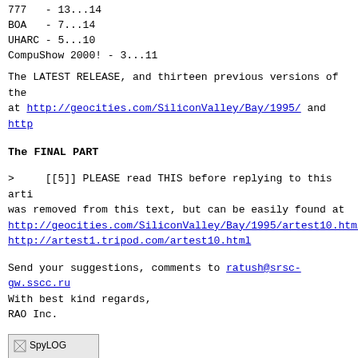777   - 13...14
BOA   - 7...14
UHARC - 5...10
CompuShow 2000! - 3...11
The LATEST RELEASE, and thirteen previous versions of the at http://geocities.com/SiliconValley/Bay/1995/ and http://...
The FINAL PART
>     [[5]] PLEASE read THIS before replying to this article was removed from this text, but can be easily found at http://geocities.com/SiliconValley/Bay/1995/artest10.html http://artest1.tripod.com/artest10.html
Send your suggestions, comments to ratush@srsc-gw.sscc.ru
With best kind regards,
RAO Inc.
[Figure (other): SpyLOG image (broken image placeholder with text 'SpyLOG')]